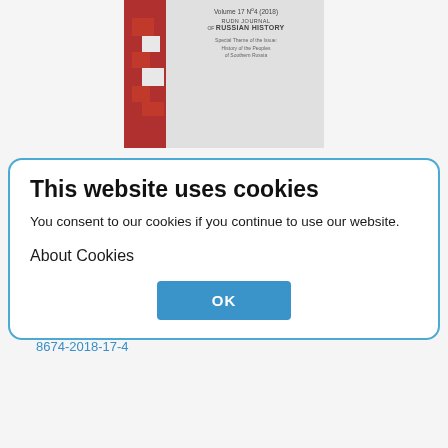[Figure (other): Journal cover: RUDN Journal of Russian History, Volume 17 No. 4 (2018), Special Theme: History of the Peoples of Southern Russia, with red logo on the left side]
Year: 2018
Articles: 11
URL: https://journals.r udn.ru/russian-history/issue/vie w/1125
This website uses cookies
You consent to our cookies if you continue to use our website.
About Cookies
OK
DOI: https://doi.org/10.22363/2312-8674-2018-17-4